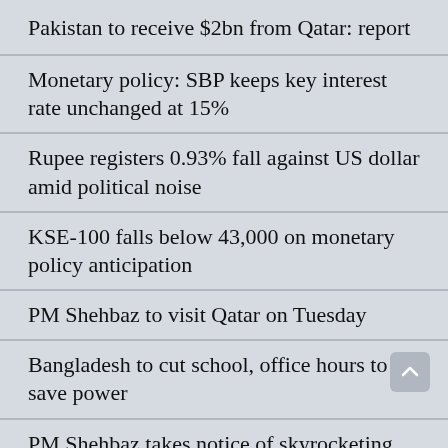Pakistan to receive $2bn from Qatar: report
Monetary policy: SBP keeps key interest rate unchanged at 15%
Rupee registers 0.93% fall against US dollar amid political noise
KSE-100 falls below 43,000 on monetary policy anticipation
PM Shehbaz to visit Qatar on Tuesday
Bangladesh to cut school, office hours to save power
PM Shehbaz takes notice of skyrocketing electricity bills
Police granted two-day physical remand of Shahbaz Gill